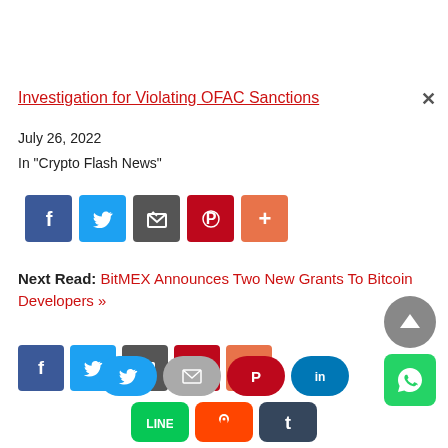Investigation for Violating OFAC Sanctions
July 26, 2022
In "Crypto Flash News"
[Figure (infographic): Social share buttons row: Facebook (blue), Twitter (blue), Email (dark gray), Pinterest (red), More (orange)]
Next Read: BitMEX Announces Two New Grants To Bitcoin Developers »
[Figure (infographic): Second social share buttons row (partially visible): Facebook, Twitter, Email, Pinterest, More]
[Figure (infographic): Floating share bar at bottom: Twitter (pill), Email (pill), Pinterest (pill), LinkedIn (pill), LINE (square), Reddit (square), Tumblr (square). Plus scroll-up button and WhatsApp button on right.]